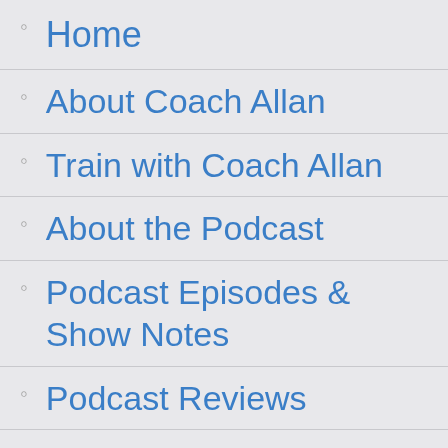Home
About Coach Allan
Train with Coach Allan
About the Podcast
Podcast Episodes & Show Notes
Podcast Reviews
40+ Fitness Blog
The Wellness Roadmap